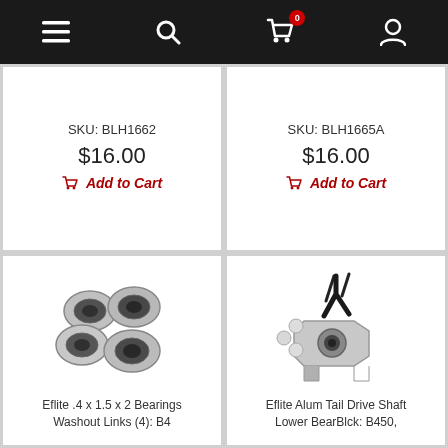Navigation bar with menu, search, cart (0 items), and account icons
SKU: BLH1662
$16.00
Add to Cart
SKU: BLH1665A
$16.00
Add to Cart
[Figure (photo): Four small metal ball bearings arranged in a cluster on white background]
Eflite .4 x 1.5 x 2 Bearings Washout Links (4): B4
[Figure (photo): Metal and plastic helicopter tail drive shaft lower bearing block parts including screws, washers, and bracket on white background]
Eflite Alum Tail Drive Shaft Lower BearBlck: B450,